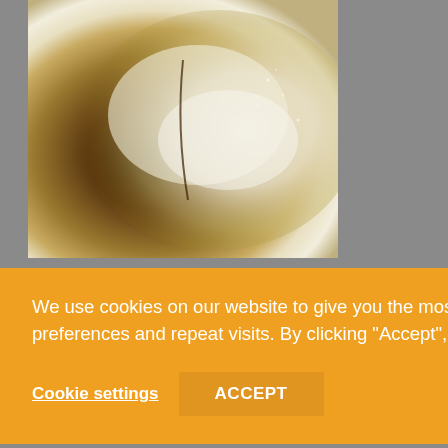[Figure (photo): Close-up photo of white/cream colored powder (flour or similar baking ingredient) against a dark brown background, filling the upper left area of the page]
We use cookies on our website to give you the most relevant experience by remembering your preferences and repeat visits. By clicking “Accept”, you consent to the use of ALL the cookies.
Cookie settings
ACCEPT
per serving, but I don't know exact amounts.
Low Carb Pound Cake
You will need:
1 1/2 Cup Carbquik
1 Cup Wholegrain Flour
1/2 Cup Ground Almonds (or Almond Meal/Almond Flour)
1/2 Cup Coconut Flour
3/4 Cup Splenda for Baking